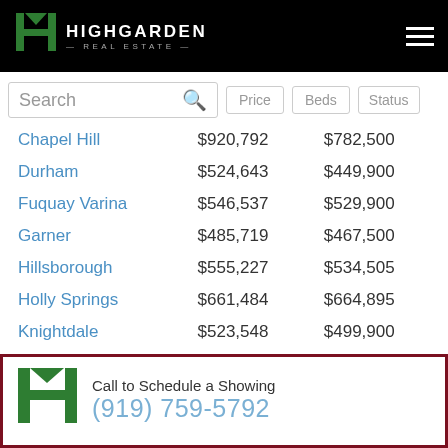HIGHGARDEN REAL ESTATE
| City | Avg Price | Median Price |
| --- | --- | --- |
| Chapel Hill | $920,792 | $782,500 |
| Durham | $524,643 | $449,900 |
| Fuquay Varina | $546,537 | $529,900 |
| Garner | $485,719 | $467,500 |
| Hillsborough | $555,227 | $534,505 |
| Holly Springs | $661,484 | $664,895 |
| Knightdale | $523,548 | $499,900 |
| Morrisville | $771,235 | $750,000 |
| Raleigh | $767,398 | $528,280 |
| Rolesville | $572,675 | $535,777 |
Call to Schedule a Showing
(919) 759-5792